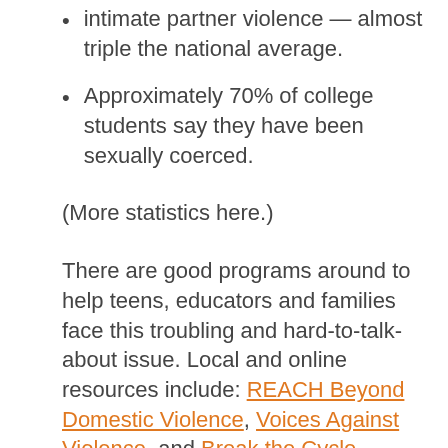intimate partner violence — almost triple the national average.
Approximately 70% of college students say they have been sexually coerced.
(More statistics here.)
There are good programs around to help teens, educators and families face this troubling and hard-to-talk-about issue. Local and online resources include: REACH Beyond Domestic Violence, Voices Against Violence, and Break the Cycle.
Raising awareness – through this month's Teen DV Awareness campaign and other activities